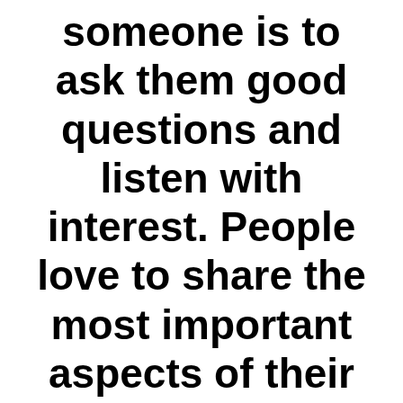someone is to ask them good questions and listen with interest. People love to share the most important aspects of their careers. It's best